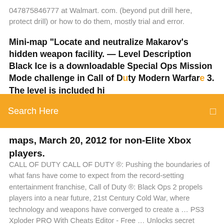047875846777 at Walmart. com. (beyond put drill here, protect drill) or how to do them, mostly trial and error.
Mini-map "Locate and neutralize Makarov's hidden weapon facility. — Level Description Black Ice is a downloadable Special Ops Mission Mode challenge in Call of Duty Modern Warfare 3. The level is included hi
Search Here
maps, March 20, 2012 for non-Elite Xbox players.
CALL OF DUTY CALL OF DUTY ®: Pushing the boundaries of what fans have come to expect from the record-setting entertainment franchise, Call of Duty ®: Black Ops 2 propels players into a near future, 21st Century Cold War, where technology and weapons have converged to create a … PS3 Xploder PRO With Cheats Editor - Free … Unlocks secret content - get hidden items, power ups and extra lives etc. Hundreds of cheats for hundreds of games; Call of Duty: